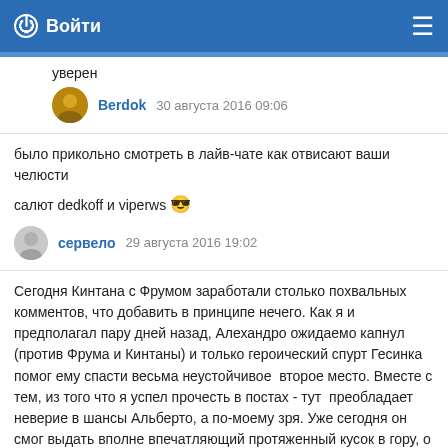Войти
уверен
Berdok  30 августа 2016 09:06
было прикольно смотреть в лайв-чате как отвисают ваши челюсти
салют dedkoff и viperws 😎
сервело  29 августа 2016 19:02
Сегодня Кинтана с Фрумом заработали столько похвальных комментов, что добавить в принципе нечего. Как я и предполагал пару дней назад, Алехандро ожидаемо капнул (против Фрума и Кинтаны) и только героический спурт Гесинка помог ему спасти весьма неустойчивое второе место. Вместе с тем, из того что я успел прочесть в постах - тут преобладает неверие в шансы Альберто, а по-моему зря. Уже сегодня он смог выдать вполне впечатляющий протяженный кусок в гору, о чем еще позавчера можно было